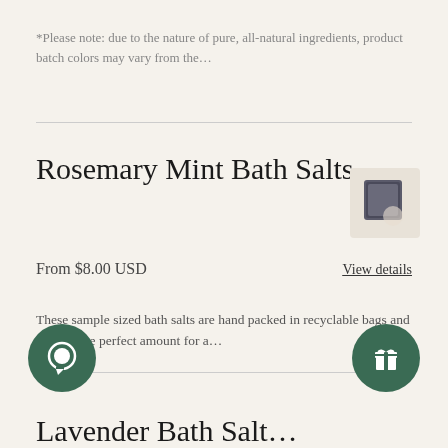*Please note: due to the nature of pure, all-natural ingredients, product batch colors may vary from the…
Rosemary Mint Bath Salts
[Figure (photo): Small product image of Rosemary Mint Bath Salts, a dark square pouch on a light background]
From $8.00 USD
View details
These sample sized bath salts are hand packed in recyclable bags and contain the perfect amount for a…
[Figure (other): Dark green circular chat button icon]
[Figure (other): Dark green circular gift/rewards button icon]
Lavender Bath Salt…